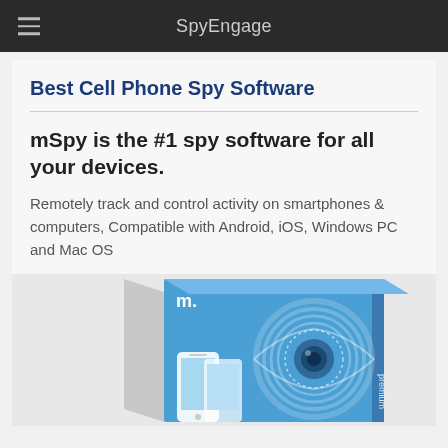SpyEngage
Best Cell Phone Spy Software
mSpy is the #1 spy software for all your devices.
Remotely track and control activity on smartphones & computers, Compatible with Android, iOS, Windows PC and Mac OS
[Figure (photo): mSpy premium software product box showing an eye graphic with concentric circles and smartphones, in blue and gray packaging]